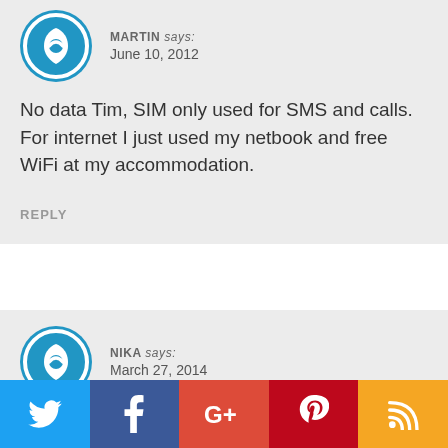MARTIN says: June 10, 2012
No data Tim, SIM only used for SMS and calls. For internet I just used my netbook and free WiFi at my accommodation.
REPLY
NIKA says: March 27, 2014
[Figure (infographic): Social sharing bar with Twitter (blue), Facebook (dark blue), Google+ (red-orange), Pinterest (dark red), RSS (orange) icons]